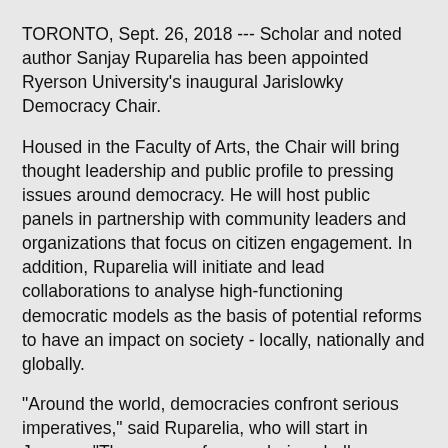TORONTO, Sept. 26, 2018 --- Scholar and noted author Sanjay Ruparelia has been appointed Ryerson University's inaugural Jarislowky Democracy Chair.
Housed in the Faculty of Arts, the Chair will bring thought leadership and public profile to pressing issues around democracy. He will host public panels in partnership with community leaders and organizations that focus on citizen engagement. In addition, Ruparelia will initiate and lead collaborations to analyse high-functioning democratic models as the basis of potential reforms to have an impact on society - locally, nationally and globally.
"Around the world, democracies confront serious imperatives," said Ruparelia, who will start in January. "These range from enduring challenges, such as enhancing civic participation and political representation, to the ramifications of new digital technologies, rising social inequalities and climate change. I look forward to